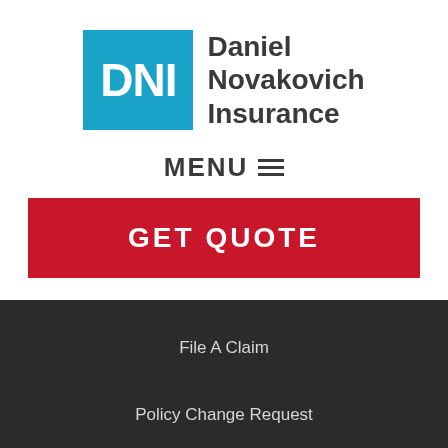[Figure (logo): Daniel Novakovich Insurance logo with blue DNI box and company name in dark gray]
MENU ☰
GET QUOTE
File A Claim
Policy Change Request